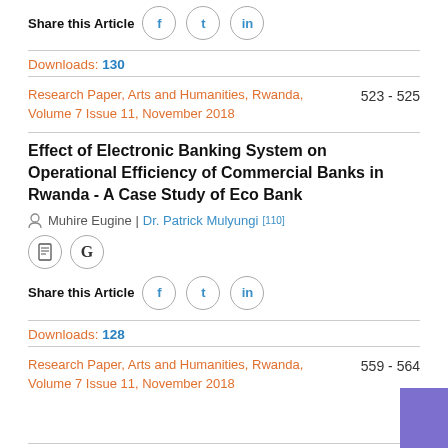Share this Article
Downloads: 130
Research Paper, Arts and Humanities, Rwanda, Volume 7 Issue 11, November 2018   523 - 525
Effect of Electronic Banking System on Operational Efficiency of Commercial Banks in Rwanda - A Case Study of Eco Bank
Muhire Eugine | Dr. Patrick Mulyungi [110]
[Figure (illustration): Two circular icon buttons: a document icon and a Google G icon]
Share this Article
Downloads: 128
Research Paper, Arts and Humanities, Rwanda, Volume 7 Issue 11, November 2018   559 - 564